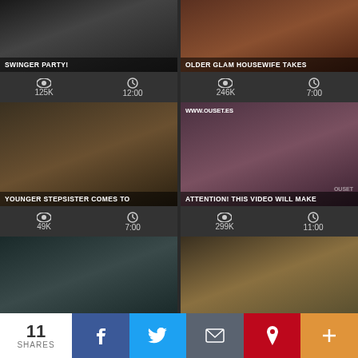[Figure (screenshot): Video thumbnail grid showing adult video thumbnails with view counts and durations]
SWINGER PARTY!
125K views  12:00
OLDER GLAM HOUSEWIFE TAKES
246K views  7:00
YOUNGER STEPSISTER COMES TO
49K views  7:00
ATTENTION! THIS VIDEO WILL MAKE
299K views  11:00
11 SHARES  f  Twitter  Email  Pinterest  +